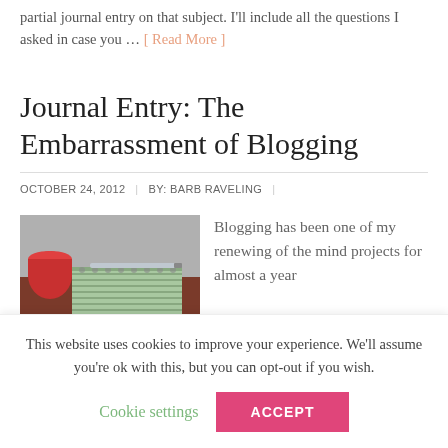partial journal entry on that subject. I'll include all the questions I asked in case you … [ Read More ]
Journal Entry: The Embarrassment of Blogging
OCTOBER 24, 2012  |  BY: BARB RAVELING  |
[Figure (photo): Notebook with pen on a table, red mug visible in background]
Blogging has been one of my renewing of the mind projects for almost a year
This website uses cookies to improve your experience. We'll assume you're ok with this, but you can opt-out if you wish.